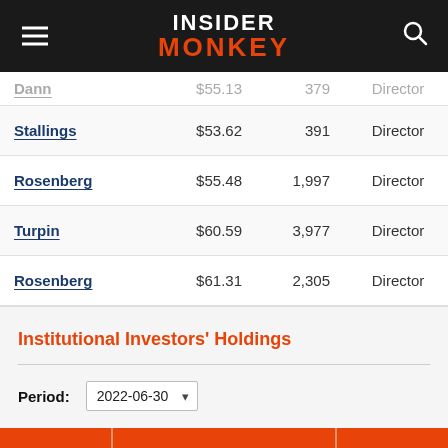Insider Monkey
| Name | Price | Shares | Role |
| --- | --- | --- | --- |
| Dann | $55.13 | 379 | Director |
| Stallings | $53.62 | 391 | Director |
| Rosenberg | $55.48 | 1,997 | Director |
| Turpin | $60.59 | 3,977 | Director |
| Rosenberg | $61.31 | 2,305 | Director |
Institutional Investors' Holdings
Period: 2022-06-30